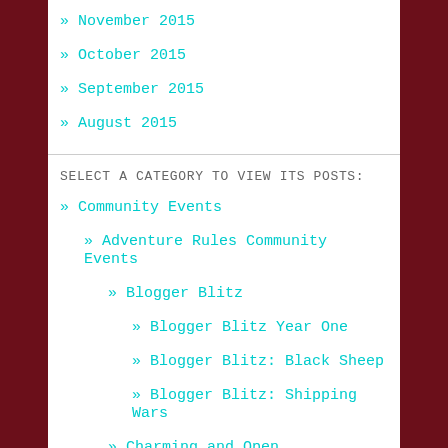» November 2015
» October 2015
» September 2015
» August 2015
SELECT A CATEGORY TO VIEW ITS POSTS:
» Community Events
» Adventure Rules Community Events
» Blogger Blitz
» Blogger Blitz Year One
» Blogger Blitz: Black Sheep
» Blogger Blitz: Shipping Wars
» Charming and Open
» Community Events by Other Blogs